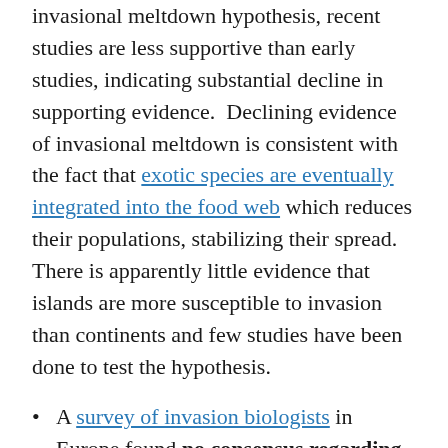invasional meltdown hypothesis, recent studies are less supportive than early studies, indicating substantial decline in supporting evidence. Declining evidence of invasional meltdown is consistent with the fact that exotic species are eventually integrated into the food web which reduces their populations, stabilizing their spread. There is apparently little evidence that islands are more susceptible to invasion than continents and few studies have been done to test the hypothesis.
A survey of invasion biologists in Europe found no consensus regarding the definition of "native" or "invasive."
If empirical validation and semantic precision